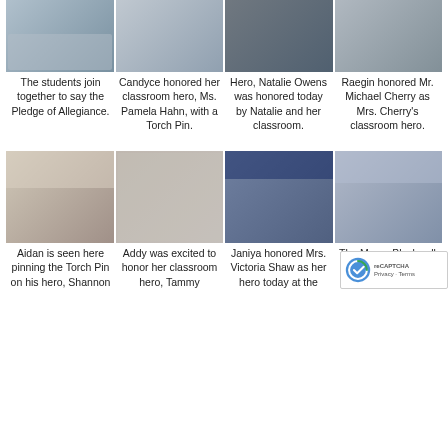[Figure (photo): Four photos in a row showing students at a classroom hero ceremony event]
The students join together to say the Pledge of Allegiance.
Candyce honored her classroom hero, Ms. Pamela Hahn, with a Torch Pin.
Hero, Natalie Owens was honored today by Natalie and her classroom.
Raegin honored Mr. Michael Cherry as Mrs. Cherry's classroom hero.
[Figure (photo): Four photos in a row showing students pinning torch pins on heroes at a Great America event]
Aidan is seen here pinning the Torch Pin on his hero, Shannon
Addy was excited to honor her classroom hero, Tammy
Janiya honored Mrs. Victoria Shaw as her hero today at the
The Mayor Blackwell dances an exc student in